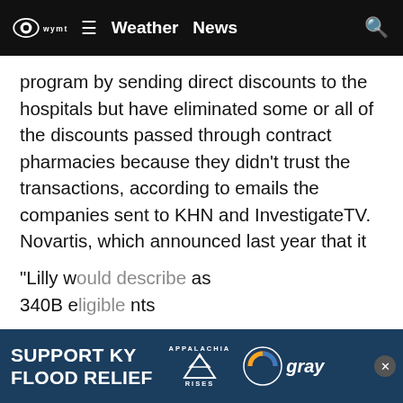WYMT Weather News
program by sending direct discounts to the hospitals but have eliminated some or all of the discounts passed through contract pharmacies because they didn’t trust the transactions, according to emails the companies sent to KHN and InvestigateTV. Novartis, which announced last year that it would sell drugs at a discount only for pharmacies within 40 miles of a hospital, said there is a “complete absence of transparency” in the contracts between hospitals and pharmacies.
“Contract pharmacy arrangements benefit for-profit pharmacies, third-party administrators, other middlemen and hospitals,” Novartis spokesperson Caryn Marshall wrote in an email.
“Lilly w… as 340B e… nts
[Figure (screenshot): SUPPORT KY FLOOD RELIEF advertisement banner with Appalachia Rises and Gray Television logos]